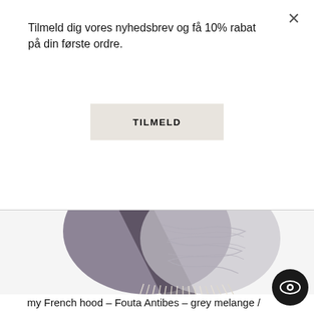Tilmeld dig vores nyhedsbrev og få 10% rabat på din første ordre.
TILMELD
[Figure (photo): Close-up of a grey melange fouta/hammam towel with fringe at the bottom, folded diagonally showing dark grey and light grey woven texture with cream-colored tassels.]
my French hood – Fouta Antibes – grey melange /